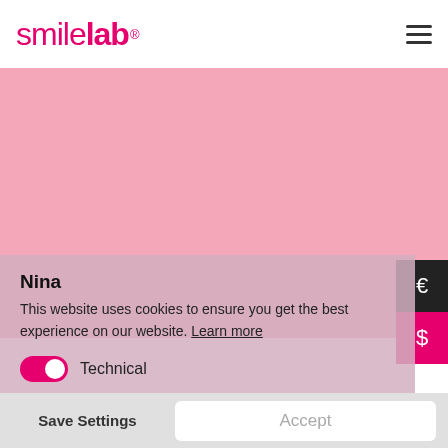[Figure (logo): Smilelab logo in pink/magenta with 'smile' in light weight and 'lab' in bold, followed by registered trademark symbol]
[Figure (screenshot): Pink hero background area of the Smilelab website]
Nina
This website uses cookies to ensure you get the best experience on our website. Learn more
Technical
Marketing
Save Settings
Accept
[Figure (photo): Partial photo of a woman (Nina) with dark hair visible at bottom of page]